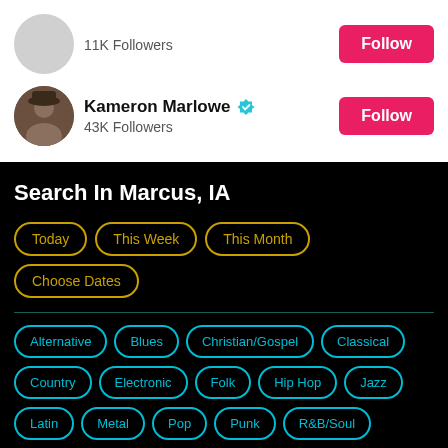11K Followers
Kameron Marlowe · 43K Followers
Search In Marcus, IA
Today
This Week
This Month
Choose Dates
Alternative
Blues
Christian/Gospel
Classical
Country
Electronic
Folk
Hip Hop
Jazz
Latin
Metal
Pop
Punk
R&B/Soul
Reggae
Rock